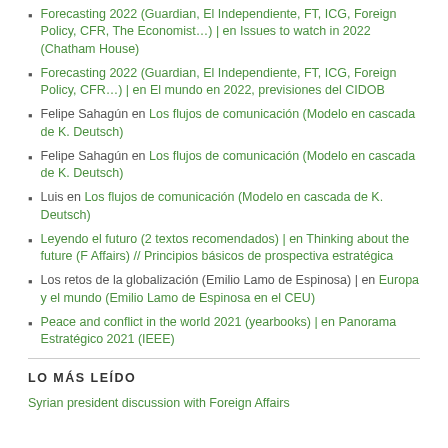Forecasting 2022 (Guardian, El Independiente, FT, ICG, Foreign Policy, CFR…) | en Issues to watch in 2022 (Chatham House)
Forecasting 2022 (Guardian, El Independiente, FT, ICG, Foreign Policy, CFR…) | en El mundo en 2022, previsiones del CIDOB
Felipe Sahagún en Los flujos de comunicación (Modelo en cascada de K. Deutsch)
Felipe Sahagún en Los flujos de comunicación (Modelo en cascada de K. Deutsch)
Luis en Los flujos de comunicación (Modelo en cascada de K. Deutsch)
Leyendo el futuro (2 textos recomendados) | en Thinking about the future (F Affairs) // Principios básicos de prospectiva estratégica
Los retos de la globalización (Emilio Lamo de Espinosa) | en Europa y el mundo (Emilio Lamo de Espinosa en el CEU)
Peace and conflict in the world 2021 (yearbooks) | en Panorama Estratégico 2021 (IEEE)
LO MÁS LEÍDO
Syrian president discussion with Foreign Affairs